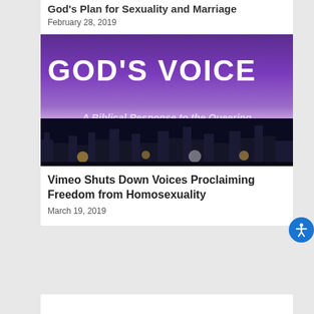God's Plan for Sexuality and Marriage
February 28, 2019
[Figure (illustration): Book cover image: 'GOD'S VOICE - A Biblical Response to the Queering of the Church' on a purple background with a nighttime cityscape at the bottom]
Vimeo Shuts Down Voices Proclaiming Freedom from Homosexuality
March 19, 2019